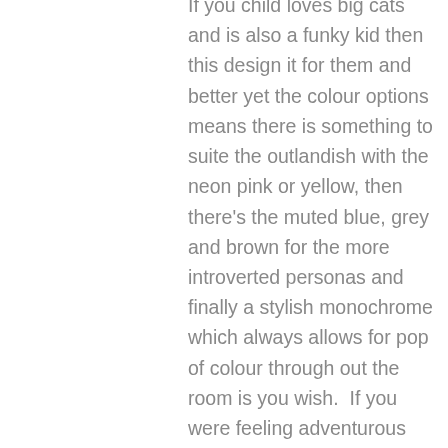If you child loves big cats and is also a funky kid then this design it for them and better yet the colour options means there is something to suite the outlandish with the neon pink or yellow, then there's the muted blue, grey and brown for the more introverted personas and finally a stylish monochrome which always allows for pop of colour through out the room is you wish.  If you were feeling adventurous you could mix and match!  With the calm yet stern stare of the tiger, coupled with a starred eye nod to bowie, this paper will last for years as it works for all ages.